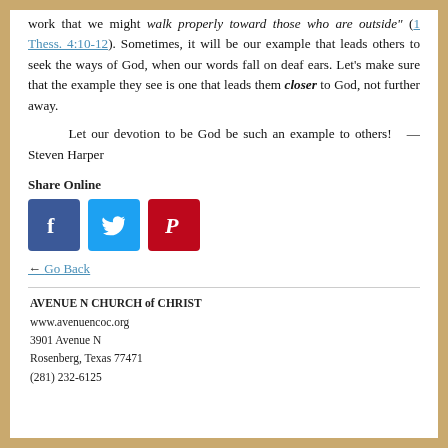work that we might walk properly toward those who are outside" (1 Thess. 4:10-12). Sometimes, it will be our example that leads others to seek the ways of God, when our words fall on deaf ears. Let’s make sure that the example they see is one that leads them closer to God, not further away.
Let our devotion to be God be such an example to others!    — Steven Harper
Share Online
[Figure (other): Three social media share buttons: Facebook (blue), Twitter (light blue), Pinterest (red)]
← Go Back
AVENUE N CHURCH of CHRIST
www.avenuencoc.org
3901 Avenue N
Rosenberg, Texas 77471
(281) 232-6125